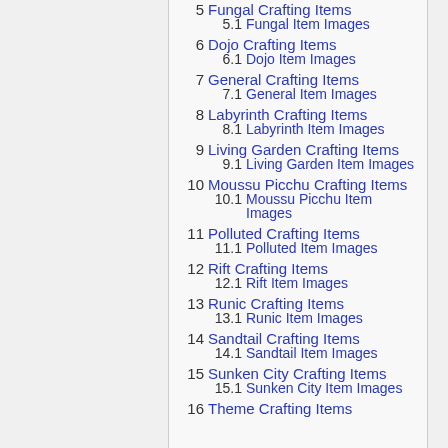5  Fungal Crafting Items
5.1  Fungal Item Images
6  Dojo Crafting Items
6.1  Dojo Item Images
7  General Crafting Items
7.1  General Item Images
8  Labyrinth Crafting Items
8.1  Labyrinth Item Images
9  Living Garden Crafting Items
9.1  Living Garden Item Images
10  Moussu Picchu Crafting Items
10.1  Moussu Picchu Item Images
11  Polluted Crafting Items
11.1  Polluted Item Images
12  Rift Crafting Items
12.1  Rift Item Images
13  Runic Crafting Items
13.1  Runic Item Images
14  Sandtail Crafting Items
14.1  Sandtail Item Images
15  Sunken City Crafting Items
15.1  Sunken City Item Images
16  Theme Crafting Items